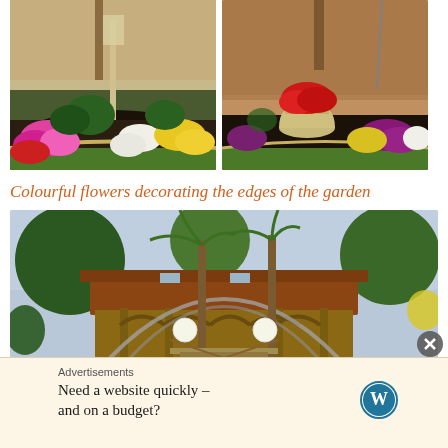[Figure (photo): Two side-by-side photos of colourful garden flower borders: left photo shows pink, red, white and yellow flowers along a curved garden edge with a lamp post; right photo shows red, purple, yellow and white flowers around a stone urn planter against a brick wall.]
Colourful flowers decorating the edges of the garden
[Figure (photo): Wide photo of a wooden house with a covered porch, arched metal trellis/pergola structure spanning the front, palm trees on either side, and globe light fixtures flanking the entrance steps.]
Advertisements
Need a website quickly – and on a budget?